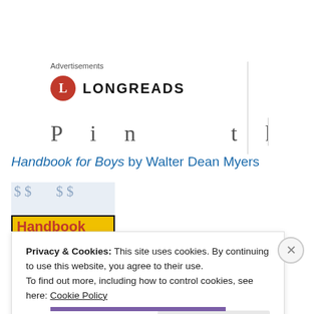Advertisements
[Figure (logo): Longreads logo: red circle with white L, followed by LONGREADS in bold uppercase]
[Figure (other): Partially visible advertisement banner with large decorative text]
Handbook for Boys by Walter Dean Myers
[Figure (photo): Book cover of Handbook for Boys showing dollar signs in background and bold red title text on yellow band]
Privacy & Cookies: This site uses cookies. By continuing to use this website, you agree to their use.
To find out more, including how to control cookies, see here: Cookie Policy